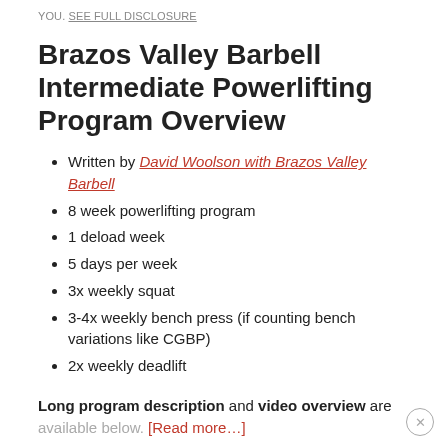YOU. SEE FULL DISCLOSURE
Brazos Valley Barbell Intermediate Powerlifting Program Overview
Written by David Woolson with Brazos Valley Barbell
8 week powerlifting program
1 deload week
5 days per week
3x weekly squat
3-4x weekly bench press (if counting bench variations like CGBP)
2x weekly deadlift
Long program description and video overview are available below. [Read more...]